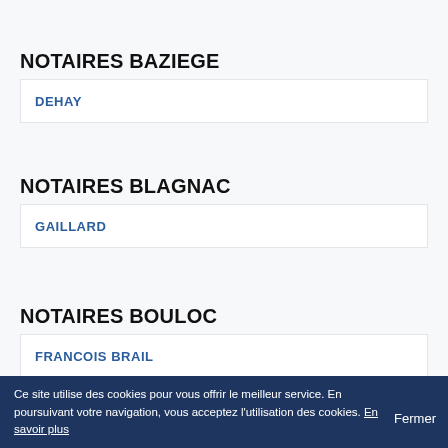NOTAIRES BAZIEGE
DEHAY
NOTAIRES BLAGNAC
GAILLARD
NOTAIRES BOULOC
FRANCOIS BRAIL
Ce site utilise des cookies pour vous offrir le meilleur service. En poursuivant votre navigation, vous acceptez l'utilisation des cookies. En savoir plus  Fermer